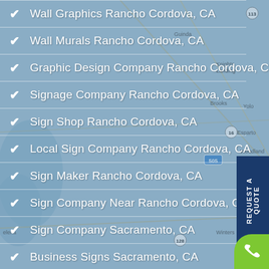[Figure (map): Blue road map background showing California region including Rancho Cordova, Sacramento area with road labels like 113, 505, 128, 16, and city names: Guinda, Brooks, Knights Landing, Yolo, Woodland, Davis, Winters, Dixon, Dunnigan, Elena]
Wall Graphics Rancho Cordova, CA
Wall Murals Rancho Cordova, CA
Graphic Design Company Rancho Cordova, CA
Signage Company Rancho Cordova, CA
Sign Shop Rancho Cordova, CA
Local Sign Company Rancho Cordova, CA
Sign Maker Rancho Cordova, CA
Sign Company Near Rancho Cordova, CA
Sign Company Sacramento, CA
Business Signs Sacramento, CA
Custom Signs Sacramento, CA
REQUEST A QUOTE